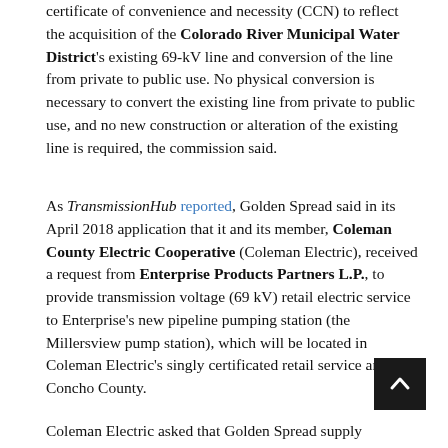certificate of convenience and necessity (CCN) to reflect the acquisition of the Colorado River Municipal Water District's existing 69-kV line and conversion of the line from private to public use. No physical conversion is necessary to convert the existing line from private to public use, and no new construction or alteration of the existing line is required, the commission said.
As TransmissionHub reported, Golden Spread said in its April 2018 application that it and its member, Coleman County Electric Cooperative (Coleman Electric), received a request from Enterprise Products Partners L.P., to provide transmission voltage (69 kV) retail electric service to Enterprise's new pipeline pumping station (the Millersview pump station), which will be located in Coleman Electric's singly certificated retail service area in Concho County.
Coleman Electric asked that Golden Spread supply wholesale power to Coleman Electric at a delivery point...